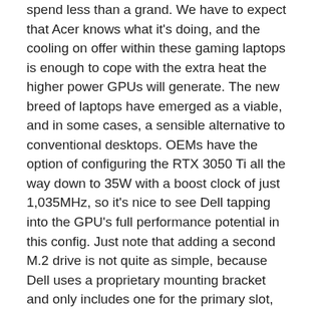spend less than a grand. We have to expect that Acer knows what it's doing, and the cooling on offer within these gaming laptops is enough to cope with the extra heat the higher power GPUs will generate. The new breed of laptops have emerged as a viable, and in some cases, a sensible alternative to conventional desktops. OEMs have the option of configuring the RTX 3050 Ti all the way down to 35W with a boost clock of just 1,035MHz, so it's nice to see Dell tapping into the GPU's full performance potential in this config. Just note that adding a second M.2 drive is not quite as simple, because Dell uses a proprietary mounting bracket and only includes one for the primary slot, which is occupied by the 256GB SSD.
A different approach is needed, one that doesn't rely on, or affect, DOS. When you may want to use each one. With 20 PCIe Gen 4 lanes direct from the CPU, it accelerates the notebook's gaming performance and